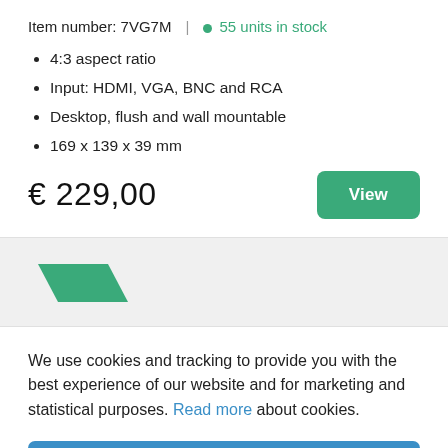Item number: 7VG7M | ● 55 units in stock
4:3 aspect ratio
Input: HDMI, VGA, BNC and RCA
Desktop, flush and wall mountable
169 x 139 x 39 mm
€ 229,00
[Figure (logo): Green parallelogram / chevron logo shape]
We use cookies and tracking to provide you with the best experience of our website and for marketing and statistical purposes. Read more about cookies.
Allow all cookies
Settings